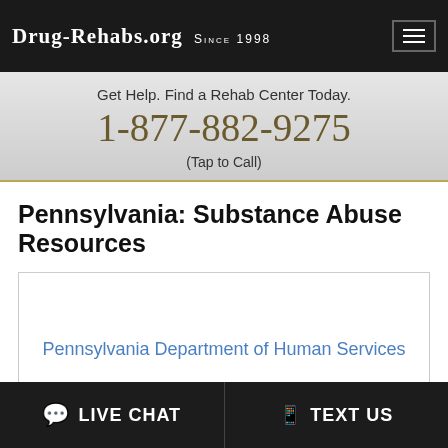Drug-Rehabs.org Since 1998
Get Help. Find a Rehab Center Today.
1-877-882-9275
(Tap to Call)
Pennsylvania: Substance Abuse Resources
Pennsylvania Department of Human Services
LIVE CHAT   TEXT US